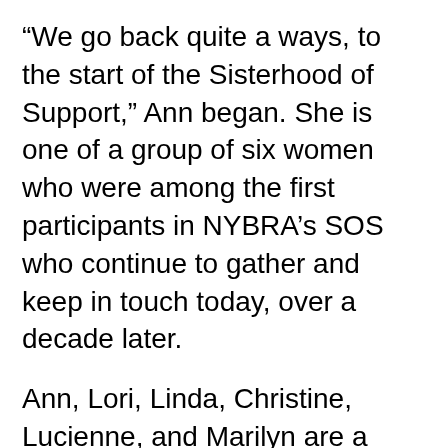“We go back quite a ways, to the start of the Sisterhood of Support,” Ann began. She is one of a group of six women who were among the first participants in NYBRA’s SOS who continue to gather and keep in touch today, over a decade later.
Ann, Lori, Linda, Christine, Lucienne, and Marilyn are a strong endorsement of Patient Empowerment Program Clinical Director Mollie Sugarman’s tailored approach to group work. They don’t necessarily see each other often, but they said it doesn’t matter: their relationships